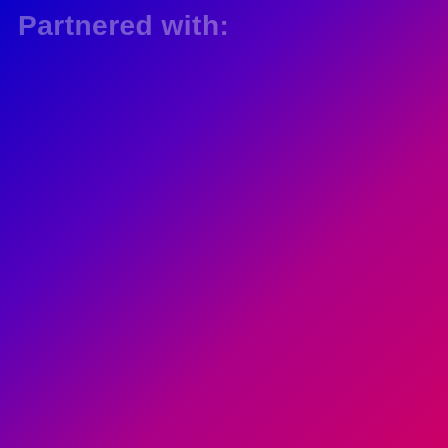[Figure (illustration): Full-page gradient background transitioning from deep blue on the left to vivid magenta/pink on the right, with purple in the middle.]
Partnered with: